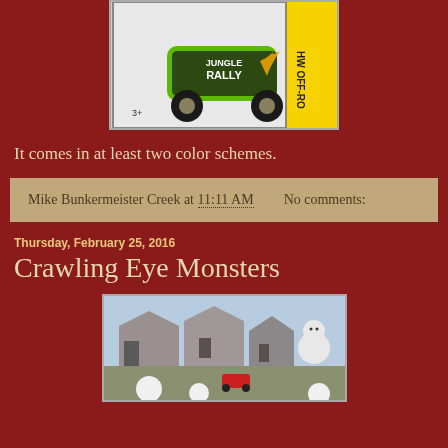[Figure (photo): Hot Wheels toy car in packaging - Jungle Rally HW Off-Road series, green vehicle with flame graphics]
It comes in at least two color schemes.
Mike Bunkermeister Creek at 11:11 AM    No comments:
Thursday, February 25, 2016
Crawling Eye Monsters
[Figure (photo): Miniature village scene with small white sphere figures placed among model buildings, with a red toy car visible]